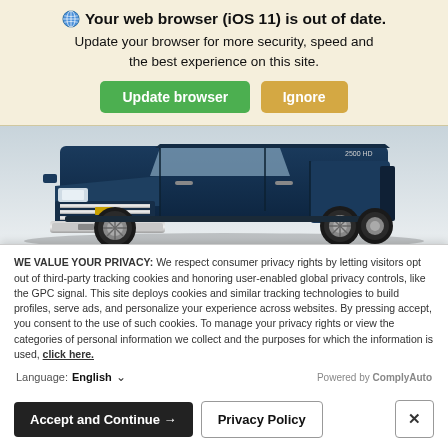Your web browser (iOS 11) is out of date. Update your browser for more security, speed and the best experience on this site. [Update browser] [Ignore]
[Figure (photo): Front view of a dark blue Chevrolet Silverado HD pickup truck on a light grey background]
Silverado HD
Starting at $38,500 MSRP*
WE VALUE YOUR PRIVACY: We respect consumer privacy rights by letting visitors opt out of third-party tracking cookies and honoring user-enabled global privacy controls, like the GPC signal. This site deploys cookies and similar tracking technologies to build profiles, serve ads, and personalize your experience across websites. By pressing accept, you consent to the use of such cookies. To manage your privacy rights or view the categories of personal information we collect and the purposes for which the information is used, click here.
Language: English ∨   Powered by ComplyAuto
Accept and Continue →   Privacy Policy   ×